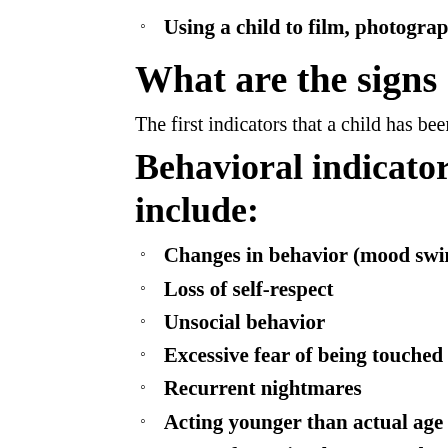Using a child to film, photograph or model pornography
What are the signs of sexual abuse?
The first indicators that a child has been sexually abused may be beha
Behavioral indicators in young childr include:
Changes in behavior (mood swings, clinging, withdrawal, etc
Loss of self-respect
Unsocial behavior
Excessive fear of being touched
Recurrent nightmares
Acting younger than actual age
Fears of certain places, people, or activities
Poor schoolwork and frequent absences
Shame about his or her body
Premature knowledge of sex acts
Preoccupied with sex play (frequent masturbation, touching genitals, exposing genitals frequently)